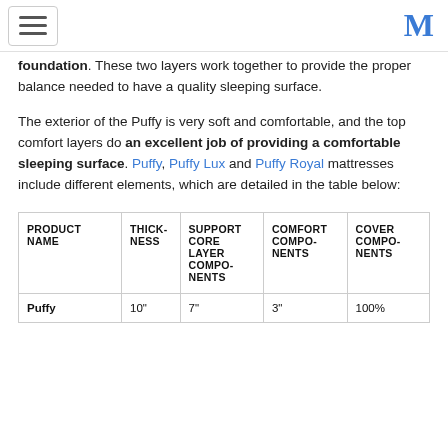[hamburger menu] [M logo]
foundation. These two layers work together to provide the proper balance needed to have a quality sleeping surface.
The exterior of the Puffy is very soft and comfortable, and the top comfort layers do an excellent job of providing a comfortable sleeping surface. Puffy, Puffy Lux and Puffy Royal mattresses include different elements, which are detailed in the table below:
| PRODUCT NAME | THICKNESS | SUPPORT CORE LAYER COMPONENTS | COMFORT COMPONENTS | COVER COMPONENTS |
| --- | --- | --- | --- | --- |
| Puffy | 10" | 7" | 3" | 100% |